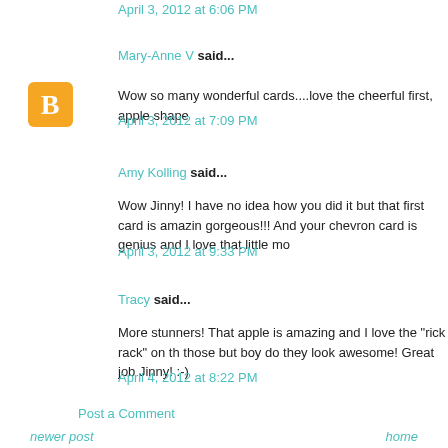April 3, 2012 at 6:06 PM
Mary-Anne V said...
Wow so many wonderful cards....love the cheerful first, apple shape
April 3, 2012 at 7:09 PM
Amy Kolling said...
Wow Jinny! I have no idea how you did it but that first card is amazin gorgeous!!! And your chevron card is genius and I love that little mo
April 3, 2012 at 9:33 PM
Tracy said...
More stunners! That apple is amazing and I love the "rick rack" on th those but boy do they look awesome! Great job Jinny! :-)
April 4, 2012 at 8:22 PM
Post a Comment
newer post
home